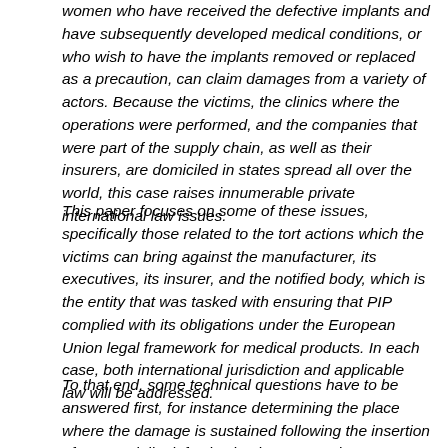women who have received the defective implants and have subsequently developed medical conditions, or who wish to have the implants removed or replaced as a precaution, can claim damages from a variety of actors. Because the victims, the clinics where the operations were performed, and the companies that were part of the supply chain, as well as their insurers, are domiciled in states spread all over the world, this case raises innumerable private international law issues.
This paper focuses on some of these issues, specifically those related to the tort actions which the victims can bring against the manufacturer, its executives, its insurer, and the notified body, which is the entity that was tasked with ensuring that PIP complied with its obligations under the European Union legal framework for medical products. In each case, both international jurisdiction and applicable law will be addressed.
To that end, some technical questions have to be answered first, for instance determining the place where the damage is sustained following the insertion of a potentially defective implant, or to what extent criminal courts can be expected to